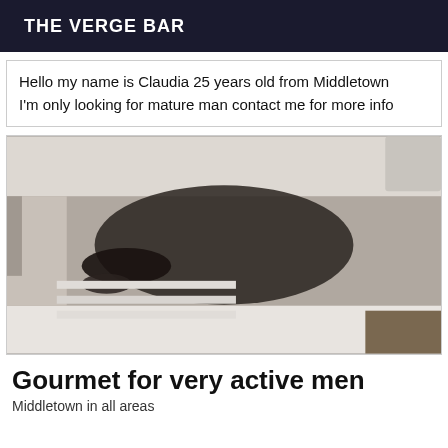THE VERGE BAR
Hello my name is Claudia 25 years old from Middletown I'm only looking for mature man contact me for more info
[Figure (photo): A person lying on a kitchen counter wearing dark clothing and stockings]
Gourmet for very active men
Middletown in all areas